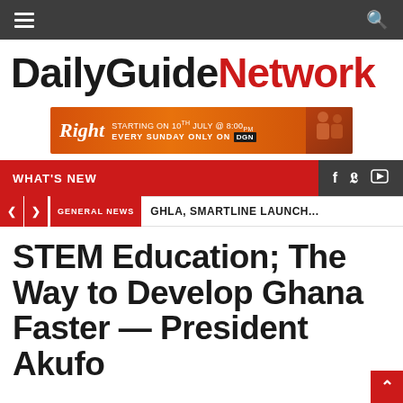DailyGuideNetwork navigation bar with hamburger menu and search icon
[Figure (logo): DailyGuideNetwork logo — 'DailyGuide' in black bold, 'Network' in red bold]
[Figure (infographic): Advertisement banner: Right Starting on 10th July @ 8:00pm Every Sunday Only on DGN]
WHAT'S NEW
GENERAL NEWS   GHLA, SMARTLINE LAUNCH...
STEM Education; The Way to Develop Ghana Faster — President Akufo